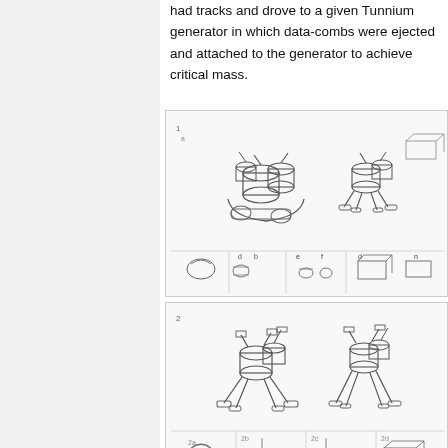had tracks and drove to a given Tunnium generator in which data-combs were ejected and attached to the generator to achieve critical mass.
[Figure (illustration): Engineering concept sketches of a small tracked/legged mechanical vehicle unit, shown from multiple angles and with component breakdowns. Two main views of the vehicle plus several smaller detail views.]
[Figure (illustration): Engineering concept sketches of a larger legged mechanical vehicle unit (iteration 2), shown from multiple angles and with component breakdowns. Two main views plus smaller detail/orthographic views.]
The early PHC engineers struggled until gravity channeling was mastered as well a